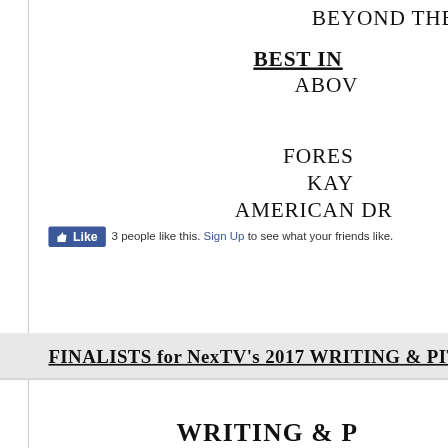BEYOND THE
BEST IN
ABOV
FORES
KAY
AMERICAN DR
[Figure (screenshot): Facebook Like button showing '3 people like this. Sign Up to see what your friends like.']
FINALISTS for NexTV’s 2017 WRITING & PIT
WRITING & P